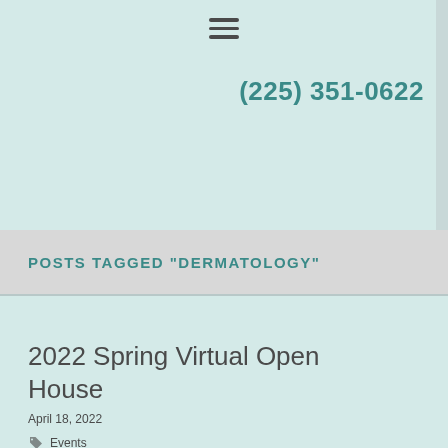(225) 351-0622
POSTS TAGGED "DERMATOLOGY"
2022 Spring Virtual Open House
April 18, 2022
Events